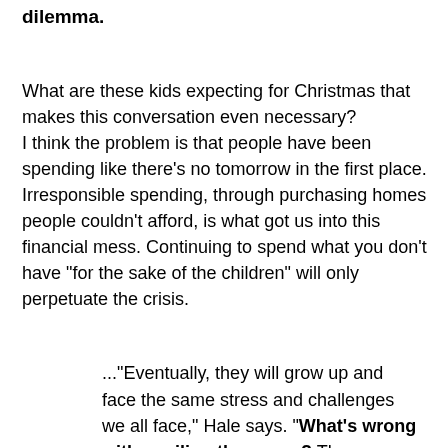dilemma.
What are these kids expecting for Christmas that makes this conversation even necessary?
I think the problem is that people have been spending like there's no tomorrow in the first place.  Irresponsible spending, through purchasing homes people couldn't afford, is what got us into this financial mess.  Continuing to spend what you don't have "for the sake of the children" will only perpetuate the crisis.
..."Eventually, they will grow up and face the same stress and challenges we all face," Hale says. "What's wrong with spoiling them now? These sweet-spirited innocent years are so fleeting."
I weep for the future.
Parents who try to protect their children by spoiling them only